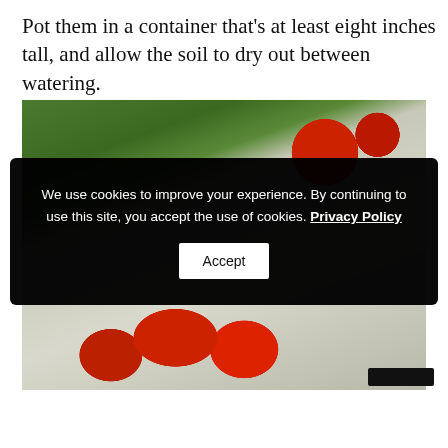Pot them in a container that's at least eight inches tall, and allow the soil to dry out between watering.
[Figure (photo): Photo of fresh basil leaves (green) and cherry tomatoes (red) on a light surface, with a cookie consent overlay banner on top.]
We use cookies to improve your experience. By continuing to use this site, you accept the use of cookies. Privacy Policy [Accept button]